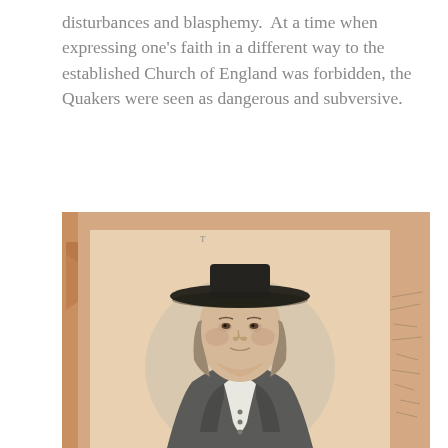disturbances and blasphemy.  At a time when expressing one's faith in a different way to the established Church of England was forbidden, the Quakers were seen as dangerous and subversive.
[Figure (illustration): Historical engraving/etching portrait of a man wearing a wide-brimmed black hat and plain clothing with a white cravat, consistent with Quaker dress of the 17th century. The portrait is shown mounted on aged paper with a peach/salmon colored backing sheet, with fold marks visible on the left side and handwritten annotations on the right margin.]